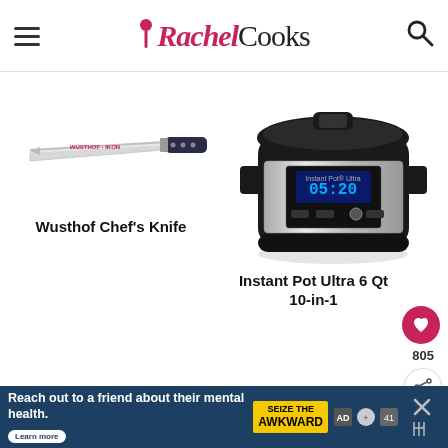Rachel Cooks
[Figure (photo): Wusthof chef's knife with black handle on white background]
[Figure (photo): Instant Pot Ultra 6 Qt pressure cooker, stainless steel with black lid, digital display showing 05:20]
Wusthof Chef's Knife
Instant Pot Ultra 6 Qt 10-in-1
[Figure (photo): Partial view of a green oval/dome shaped object, possibly a silicone baking mat or pan]
Reach out to a friend about their mental health. Learn more SEIZE THE AWKWARD 805